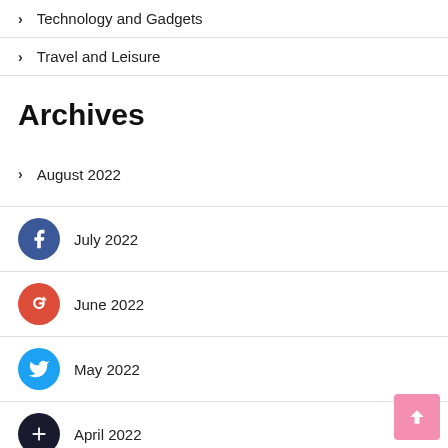Technology and Gadgets
Travel and Leisure
Archives
August 2022
July 2022
June 2022
May 2022
April 2022
March 2022